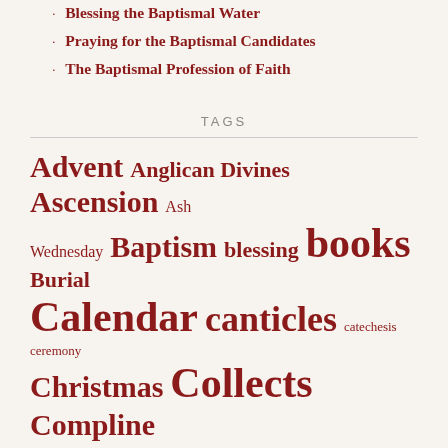Blessing the Baptismal Water
Praying for the Baptismal Candidates
The Baptismal Profession of Faith
TAGS
Advent Anglican Divines Ascension Ash Wednesday Baptism blessing books Burial Calendar canticles catechesis ceremony Christmas Collects Compline Confession Confirmation Consecration of a Church